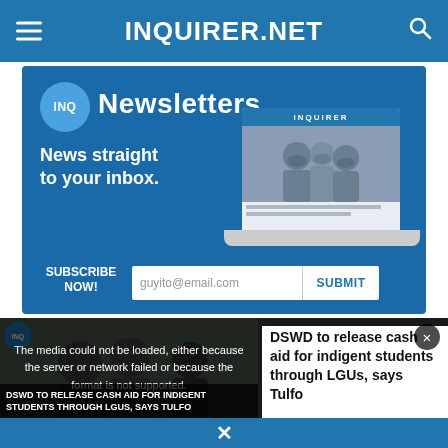INQUIRER.NET
[Figure (screenshot): INQ Newsletters advertisement banner with blue background. Shows 'INQ Newsletters' heading with INQ circle logo, tagline 'News straight to your inbox.', laptop image with INQUIRER website on screen, 'SUBSCRIBE NOW!' text, email input field showing 'guyito@email.com', and SUBMIT button.]
[Figure (screenshot): Video player area showing error message 'The media could not be loaded, either because the server or network failed or because the format is not supported.' with a news video thumbnail showing people. Side panel shows article title 'DSWD to release cash aid for indigent students through LGUs, says Tulfo'. Bottom bar has close X button.]